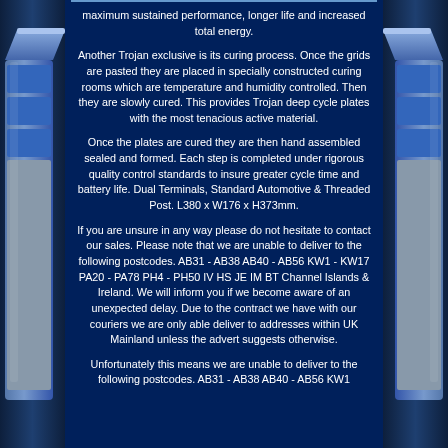[Figure (photo): Blue battery product image on left side of page, decorative]
[Figure (photo): Blue battery product image on right side of page, decorative]
maximum sustained performance, longer life and increased total energy.
Another Trojan exclusive is its curing process. Once the grids are pasted they are placed in specially constructed curing rooms which are temperature and humidity controlled. Then they are slowly cured. This provides Trojan deep cycle plates with the most tenacious active material.
Once the plates are cured they are then hand assembled sealed and formed. Each step is completed under rigorous quality control standards to insure greater cycle time and battery life. Dual Terminals, Standard Automotive & Threaded Post. L380 x W176 x H373mm.
If you are unsure in any way please do not hesitate to contact our sales. Please note that we are unable to deliver to the following postcodes. AB31 - AB38 AB40 - AB56 KW1 - KW17 PA20 - PA78 PH4 - PH50 IV HS JE IM BT Channel Islands & Ireland. We will inform you if we become aware of an unexpected delay. Due to the contract we have with our couriers we are only able deliver to addresses within UK Mainland unless the advert suggests otherwise.
Unfortunately this means we are unable to deliver to the following postcodes. AB31 - AB38 AB40 - AB56 KW1...